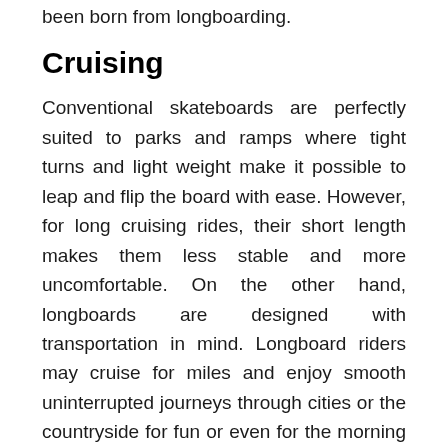been born from longboarding.
Cruising
Conventional skateboards are perfectly suited to parks and ramps where tight turns and light weight make it possible to leap and flip the board with ease. However, for long cruising rides, their short length makes them less stable and more uncomfortable. On the other hand, longboards are designed with transportation in mind. Longboard riders may cruise for miles and enjoy smooth uninterrupted journeys through cities or the countryside for fun or even for the morning commute.
If you're interested in a new way to commute to work, then check out our guide to the best electric